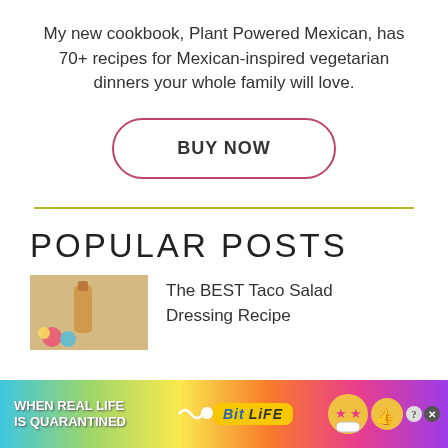My new cookbook, Plant Powered Mexican, has 70+ recipes for Mexican-inspired vegetarian dinners your whole family will love.
[Figure (other): BUY NOW button with rounded rectangle border in pink/rose color]
[Figure (other): Olive/yellow-green horizontal divider line]
POPULAR POSTS
[Figure (photo): Thumbnail photo showing a bottle and colorful items for The BEST Taco Salad Dressing Recipe post]
The BEST Taco Salad Dressing Recipe
[Figure (other): Advertisement banner: WHEN REAL LIFE IS QUARANTINED - BitLife game ad with colorful gradient background]